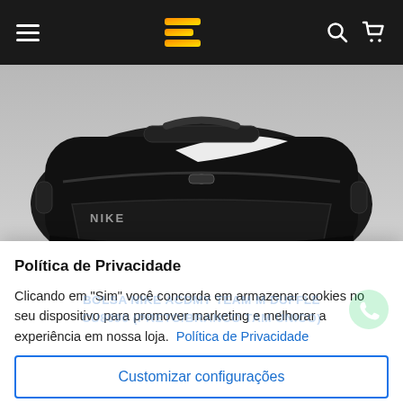Navigation bar with hamburger menu, logo, search and cart icons
[Figure (photo): Nike black duffel/sports bag product photo on light grey background, showing Nike swoosh logo and NIKE text on the bag]
Política de Privacidade
Clicando em "Sim" você concorda em armazenar cookies no seu dispositivo para promover marketing e melhorar a experiência em nossa loja. Política de Privacidade
Customizar configurações
Permitir todos
BOLSA NIKE ACDMY TEAM M DUFFLE CU8090 (PRETO/BRANCO TAM ÚNICO)
a sua bola, chuteiras e roupas, enquanto várias alças permitem que você